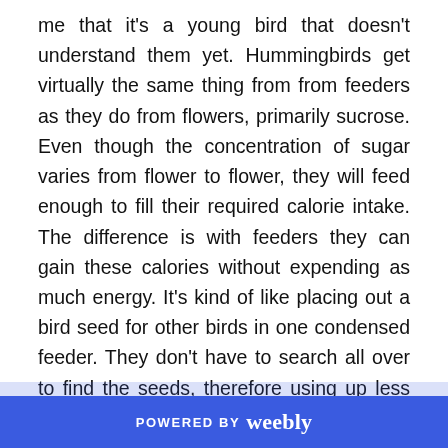me that it's a young bird that doesn't understand them yet. Hummingbirds get virtually the same thing from from feeders as they do from flowers, primarily sucrose. Even though the concentration of sugar varies from flower to flower, they will feed enough to fill their required calorie intake. The difference is with feeders they can gain these calories without expending as much energy. It's kind of like placing out a bird seed for other birds in one condensed feeder. They don't have to search all over to find the seeds, therefore using up less energy. Compare seed eating birds to hummingbirds in the way that they both want to gain the most amount of food value without having to work as hard to get it.
POWERED BY weebly